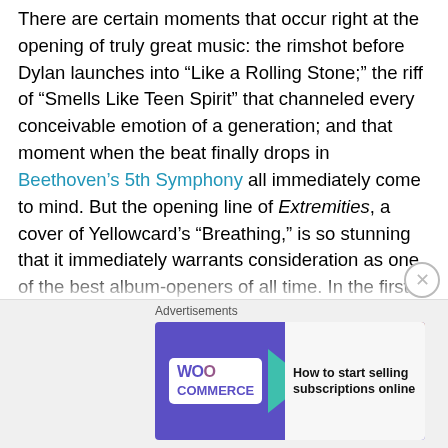There are certain moments that occur right at the opening of truly great music: the rimshot before Dylan launches into “Like a Rolling Stone;” the riff of “Smells Like Teen Spirit” that channeled every conceivable emotion of a generation; and that moment when the beat finally drops in Beethoven’s 5th Symphony all immediately come to mind. But the opening line of Extremities, a cover of Yellowcard’s “Breathing,” is so stunning that it immediately warrants consideration as one of the best album-openers of all time. In the first few bars, Extreme Measures already establish themselves as the most illustrious a cappella group in America since four insufferable pricks from Yale first donned tuxedos and formed the Whiffenpoofs — who incidentally only have the second-most obnoxious name
[Figure (other): WooCommerce advertisement banner: purple background with WooCommerce logo, teal arrow shape, and text 'How to start selling subscriptions online']